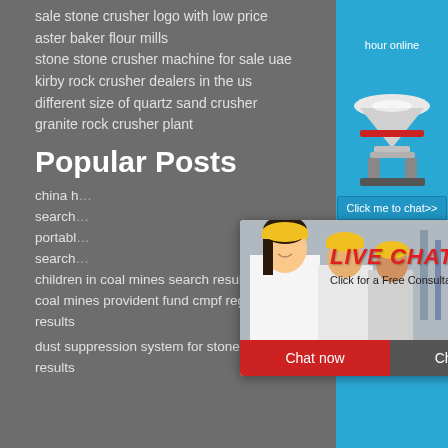sale stone crusher logo with low price
aster baker flour mills
stone stone crusher machine for sale uae
kirby rock crusher dealers in the us
different size of quartz sand crusher
granite rock crusher plant
Popular Posts
china h... hour online
search...
portabl...
search...
children in coal mines search result...
coal mines provident fund cmpf reg... results
dust suppression system for stone c... results
[Figure (screenshot): Live chat popup overlay with workers in hard hats, LIVE CHAT text in red italic, Click for a Free Consultation subtitle, Chat now and Chat later buttons]
hour online
[Figure (photo): Industrial cone crusher machine image on blue background]
Click me to chat>>
Enquiry
limingjlmofen